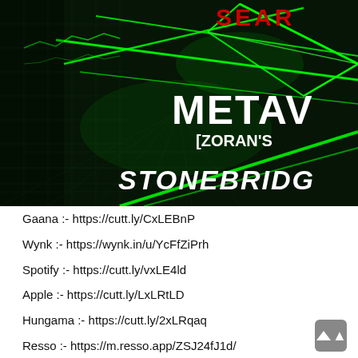[Figure (illustration): Music album/track promotional artwork with neon green laser lights on a dark tiled corridor background. Text visible: 'SEAR' in red top right, 'METAV' in large white bold letters, '[ZORAN'S' below that, and 'STONEBRIDGE' in large stylized white italic letters at the bottom.]
Gaana :- https://cutt.ly/CxLEBnP
Wynk :- https://wynk.in/u/YcFfZiPrh
Spotify :- https://cutt.ly/vxLE4ld
Apple :- https://cutt.ly/LxLRtLD
Hungama :- https://cutt.ly/2xLRqaq
Resso :- https://m.resso.app/ZSJ24fJ1d/
Amazon :- https://cutt.ly/exLE27g
Linkfire :- https://umgi.lnk.to/BaarishKiJaaye